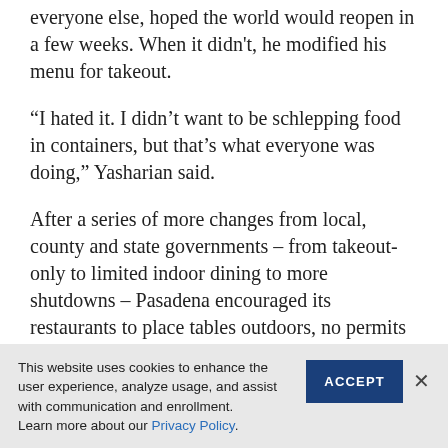Yasharian needed income. So he watched and, like everyone else, hoped the world would reopen in a few weeks. When it didn't, he modified his menu for takeout.
“I hated it. I didn’t want to be schlepping food in containers, but that’s what everyone was doing,” Yasharian said.
After a series of more changes from local, county and state governments – from takeout-only to limited indoor dining to more shutdowns – Pasadena encouraged its restaurants to place tables outdoors, no permits needed, and blocked on-street parking to provide more space. With 30 seats available, outdoor dining became Pasadena’s “saving grace” for the better part
This website uses cookies to enhance the user experience, analyze usage, and assist with communication and enrollment.
Learn more about our Privacy Policy.